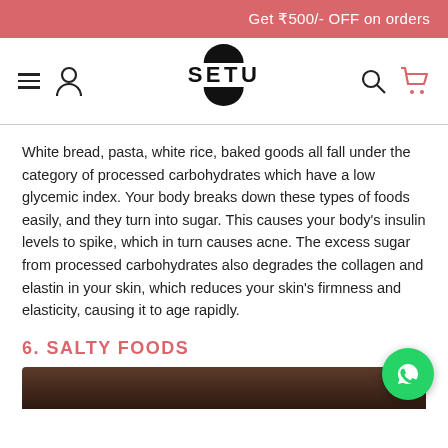Get ₹500/- OFF on orders
[Figure (logo): SETU brand logo with hamburger menu, user icon, search icon, and cart icon in navigation bar]
White bread, pasta, white rice, baked goods all fall under the category of processed carbohydrates which have a low glycemic index. Your body breaks down these types of foods easily, and they turn into sugar. This causes your body's insulin levels to spike, which in turn causes acne. The excess sugar from processed carbohydrates also degrades the collagen and elastin in your skin, which reduces your skin's firmness and elasticity, causing it to age rapidly.
6. SALTY FOODS
[Figure (photo): Bottom portion of a food image, dark brown tones, partially visible]